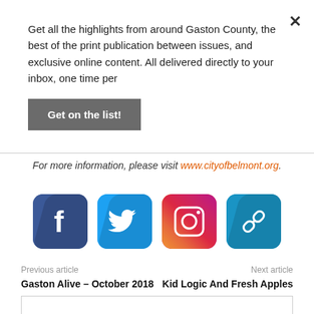Get all the highlights from around Gaston County, the best of the print publication between issues, and exclusive online content. All delivered directly to your inbox, one time per
Get on the list!
For more information, please visit www.cityofbelmont.org.
[Figure (illustration): Social media icons: Facebook, Twitter, Instagram, and a link/chain icon arranged in a row]
Previous article
Gaston Alive – October 2018
Next article
Kid Logic And Fresh Apples